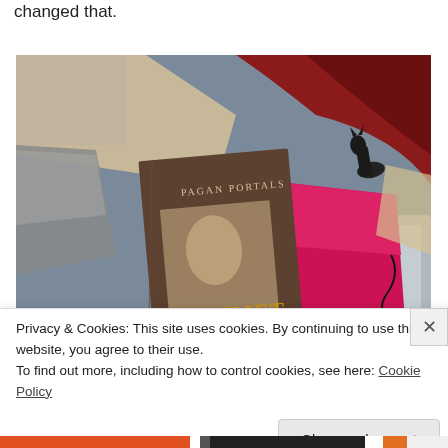changed that.
[Figure (photo): A photo showing the book 'Pagan Portals – Sekhmet' lying on a surface alongside a pink/red journal, a laptop, a small black cat figurine (statue), and fabric/textile items in red and grey tones.]
Privacy & Cookies: This site uses cookies. By continuing to use this website, you agree to their use.
To find out more, including how to control cookies, see here: Cookie Policy
Close and accept